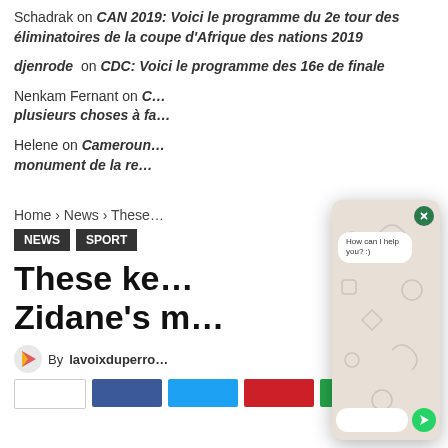Schadrak on CAN 2019: Voici le programme du 2e tour des éliminatoires de la coupe d'Afrique des nations 2019
djenrode on CDC: Voici le programme des 16e de finale
Nenkam Fernant on C... plusieurs choses à f...
Helene on Cameroun... monument de la re...
Home › News › These...
News  SPORT
These key... Zidane's m...
By lavoixduperro... 0
[Figure (screenshot): WhatsApp chat widget overlay with 'How can I help you? :)' message bubble, close button, input field, and send button on a decorative doodle background]